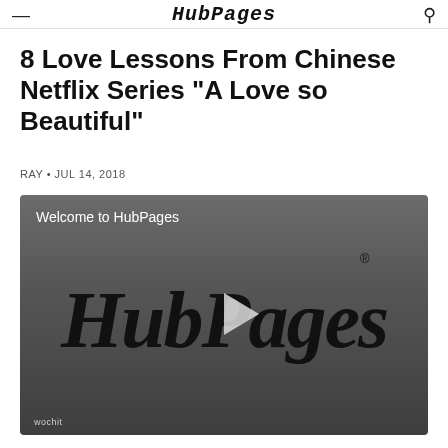HubPages
8 Love Lessons From Chinese Netflix Series "A Love so Beautiful"
RAY • JUL 14, 2018
[Figure (screenshot): Video player showing HubPages welcome video with HubPages logo and play button. Label reads 'Welcome to HubPages'. Wochit watermark visible in bottom left.]